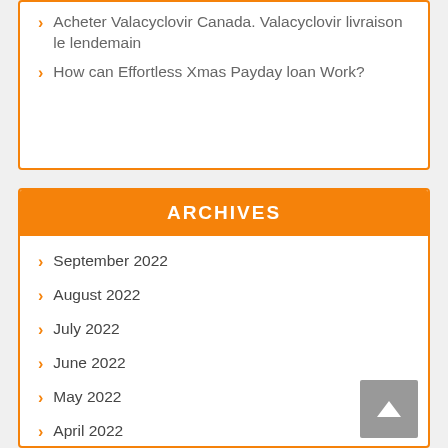Acheter Valacyclovir Canada. Valacyclovir livraison le lendemain
How can Effortless Xmas Payday loan Work?
ARCHIVES
September 2022
August 2022
July 2022
June 2022
May 2022
April 2022
March 2022